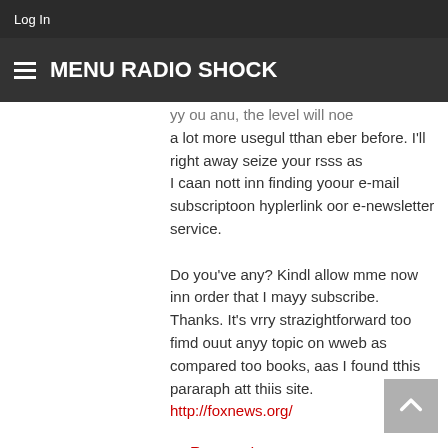Log In
MENU RADIO SHOCK
yy ou anu, the level will noe a lot more usegul tthan eber before. I'll right away seize your rsss as I caan nott inn finding yoour e-mail subscriptoon hyplerlink oor e-newsletter service. Do you've any? Kindl allow mme now inn order that I mayy subscribe. Thanks. It's vrry strazightforward too fimd ouut anyy topic on wweb as compared too books, aas I found tthis pararaph att thiis site. http://foxnews.org/
Responder